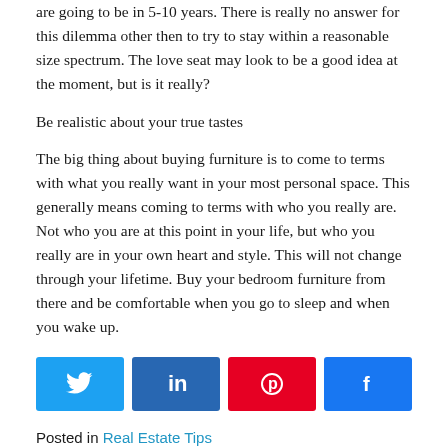are going to be in 5-10 years. There is really no answer for this dilemma other then to try to stay within a reasonable size spectrum. The love seat may look to be a good idea at the moment, but is it really?
Be realistic about your true tastes
The big thing about buying furniture is to come to terms with what you really want in your most personal space. This generally means coming to terms with who you really are. Not who you are at this point in your life, but who you really are in your own heart and style. This will not change through your lifetime. Buy your bedroom furniture from there and be comfortable when you go to sleep and when you wake up.
[Figure (infographic): Social share buttons: Twitter (blue), LinkedIn (dark blue), Pinterest (red), Facebook (blue)]
Posted in Real Estate Tips
Posted by